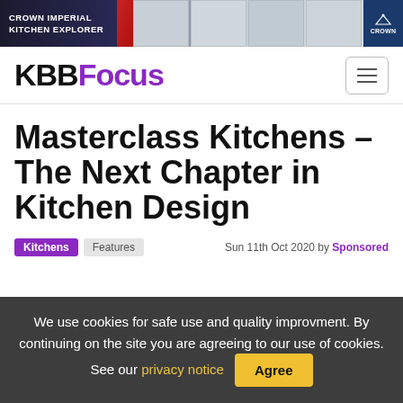[Figure (other): Crown Imperial Kitchen Explorer banner advertisement with dark background, kitchen images, and Crown logo]
KBBFocus
Masterclass Kitchens – The Next Chapter in Kitchen Design
Kitchens  Features  Sun 11th Oct 2020 by Sponsored
We use cookies for safe use and quality improvment. By continuing on the site you are agreeing to our use of cookies. See our privacy notice  Agree